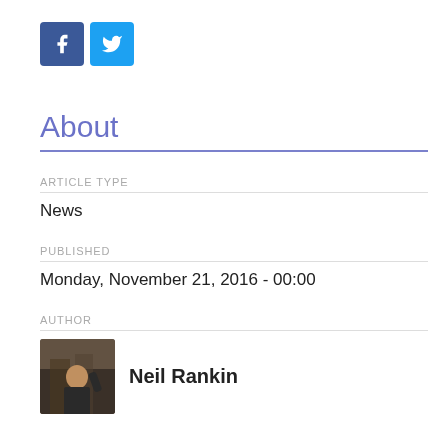[Figure (logo): Facebook and Twitter social share icons]
About
ARTICLE TYPE
News
PUBLISHED
Monday, November 21, 2016 - 00:00
AUTHOR
[Figure (photo): Profile photo of Neil Rankin]
Neil Rankin